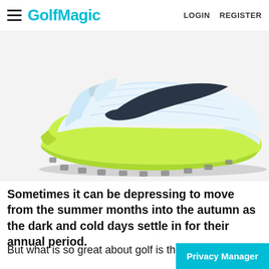GolfMagic  LOGIN  REGISTER
[Figure (photo): Side view of a Nike golf shoe with white upper and bright yellow-green (lime) sole, with cleats on the bottom. The shoe features a black Nike swoosh logo.]
Sometimes it can be depressing to move from the summer months into the autumn as the dark and cold days settle in for their annual period.
But what is so great about golf is that you can play it